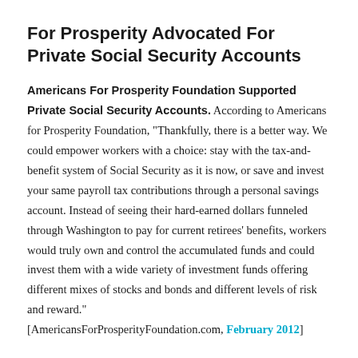For Prosperity Advocated For Private Social Security Accounts
Americans For Prosperity Foundation Supported Private Social Security Accounts. According to Americans for Prosperity Foundation, “Thankfully, there is a better way. We could empower workers with a choice: stay with the tax-and-benefit system of Social Security as it is now, or save and invest your same payroll tax contributions through a personal savings account. Instead of seeing their hard-earned dollars funneled through Washington to pay for current retirees’ benefits, workers would truly own and control the accumulated funds and could invest them with a wide variety of investment funds offering different mixes of stocks and bonds and different levels of risk and reward.”
[AmericansForProsperityFoundation.com, February 2012]